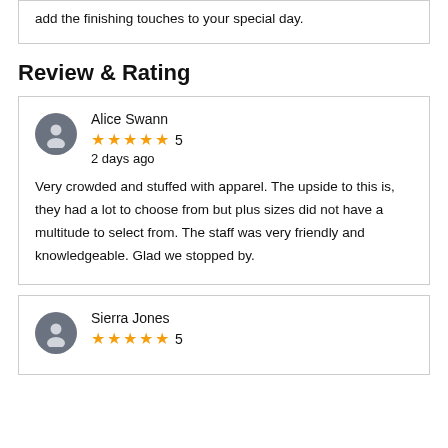add the finishing touches to your special day.
Review & Rating
Alice Swann
★★★★★ 5
2 days ago

Very crowded and stuffed with apparel. The upside to this is, they had a lot to choose from but plus sizes did not have a multitude to select from. The staff was very friendly and knowledgeable. Glad we stopped by.
Sierra Jones
★★★★★ 5